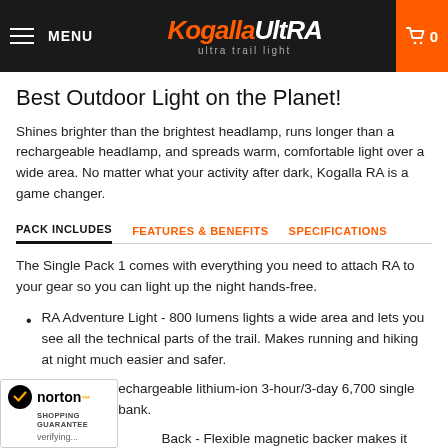MENU | KogallaUltrRA ultra trail light | 0
Best Outdoor Light on the Planet!
Shines brighter than the brightest headlamp, runs longer than a rechargeable headlamp, and spreads warm, comfortable light over a wide area. No matter what your activity after dark, Kogalla RA is a game changer.
PACK INCLUDES | FEATURES & BENEFITS | SPECIFICATIONS
The Single Pack 1 comes with everything you need to attach RA to your gear so you can light up the night hands-free.
RA Adventure Light - 800 lumens lights a wide area and lets you see all the technical parts of the trail. Makes running and hiking at night much easier and safer.
BatPak 1 - Rechargeable lithium-ion 3-hour/3-day 6,700 single USB battery bank.
Back - Flexible magnetic backer makes it easy to